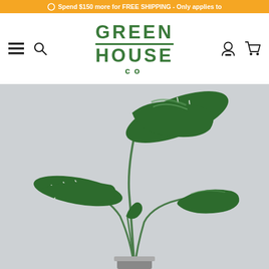Spend $150 more for FREE SHIPPING - Only applies to
[Figure (logo): Green House Co logo in dark green serif/bold font with horizontal rule between GREEN and HOUSE, with 'co' below]
[Figure (photo): A monstera or similar tropical plant with large dark green split leaves on long thin stems, photographed against a light grey background in a small pot]